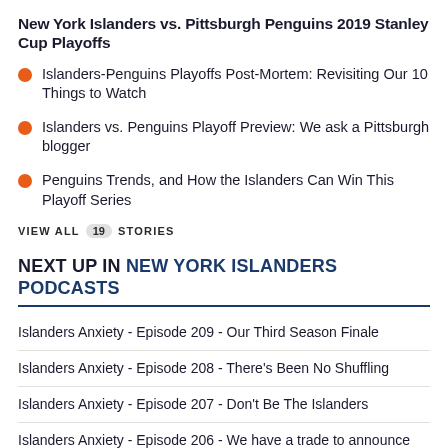New York Islanders vs. Pittsburgh Penguins 2019 Stanley Cup Playoffs
Islanders-Penguins Playoffs Post-Mortem: Revisiting Our 10 Things to Watch
Islanders vs. Penguins Playoff Preview: We ask a Pittsburgh blogger
Penguins Trends, and How the Islanders Can Win This Playoff Series
VIEW ALL 19 STORIES
NEXT UP IN NEW YORK ISLANDERS PODCASTS
Islanders Anxiety - Episode 209 - Our Third Season Finale
Islanders Anxiety - Episode 208 - There's Been No Shuffling
Islanders Anxiety - Episode 207 - Don't Be The Islanders
Islanders Anxiety - Episode 206 - We have a trade to announce